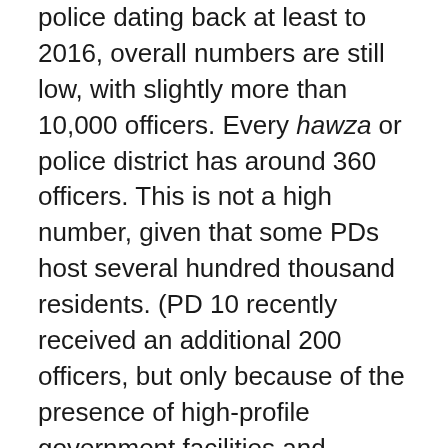police dating back at least to 2016, overall numbers are still low, with slightly more than 10,000 officers. Every hawza or police district has around 360 officers. This is not a high number, given that some PDs host several hundred thousand residents. (PD 10 recently received an additional 200 officers, but only because of the presence of high-profile government facilities and diplomatic missions in the 'Green Zone' that includes Wazir Akbar Khan). (5)
The government's most recent steps to tackle the unprecedented increase in the criminal threat to the lives of Kabul residents have been quite remarkable, as they include a more